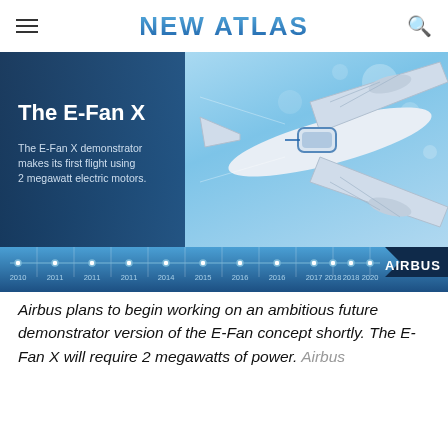NEW ATLAS
[Figure (infographic): Airbus E-Fan X demonstrator infographic showing an Airbus aircraft from above with a dark blue overlay on the left side containing the title 'The E-Fan X' and descriptive text 'The E-Fan X demonstrator makes its first flight using 2 megawatt electric motors.' Below the aircraft image is a timeline bar from 2010 to 2020 with milestone markers, and the Airbus logo in the bottom right.]
Airbus plans to begin working on an ambitious future demonstrator version of the E-Fan concept shortly. The E-Fan X will require 2 megawatts of power. Airbus